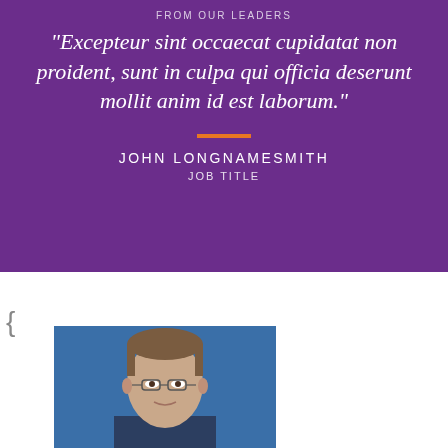FROM OUR LEADERS
“Excepteur sint occaecat cupidatat non proident, sunt in culpa qui officia deserunt mollit anim id est laborum.”
JOHN LONGNAMESMITH
JOB TITLE
[Figure (photo): Headshot portrait of a middle-aged man with glasses and brown hair, wearing a suit, against a blue background]